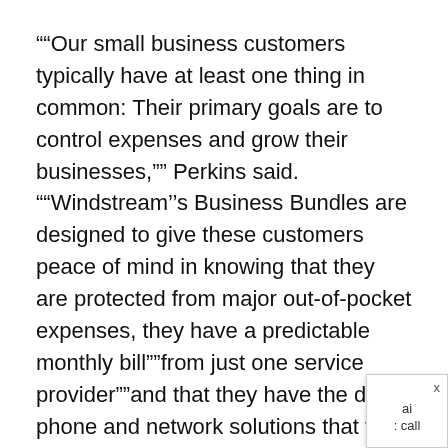“Our small business customers typically have at least one thing in common: Their primary goals are to control expenses and grow their businesses,” Perkins said. “Windstream’s Business Bundles are designed to give these customers peace of mind in knowing that they are protected from major out-of-pocket expenses, they have a predictable monthly bill—from just one service provider—and that they have the data, phone and network solutions that they need to succeed.”
Windstream recently announced the nationwide expansion of its voice, data and equipment bundle offering, IP Simple Solutions, which combines a business phone system from Windstream subsidiary Allworx with Windstream’s VoIP and Data solution. Small businesses can choose from a variety of IP Ph[one options, including IP phones, soft phones, an]d hardware[, and Windstream handles all maintenance [and]: call